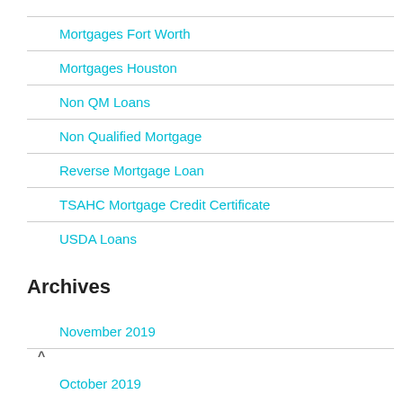Mortgages Fort Worth
Mortgages Houston
Non QM Loans
Non Qualified Mortgage
Reverse Mortgage Loan
TSAHC Mortgage Credit Certificate
USDA Loans
Archives
November 2019
October 2019